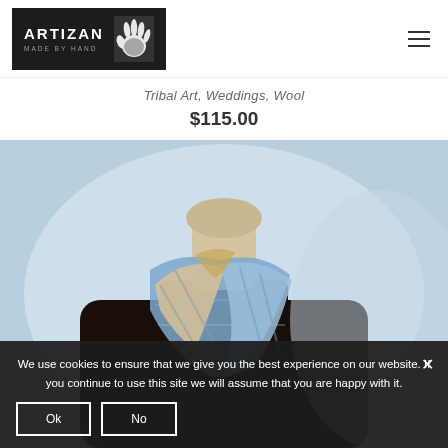[Figure (logo): Artizan Made By Hand logo with handprint on dark background]
Tribal Art, Weddings, Wool
$115.00
[Figure (photo): Mannequin wearing a blue and beige plaid wool scarf over a dark sweater, displayed against a light blue background]
We use cookies to ensure that we give you the best experience on our website. If you continue to use this site we will assume that you are happy with it.
Ok
No